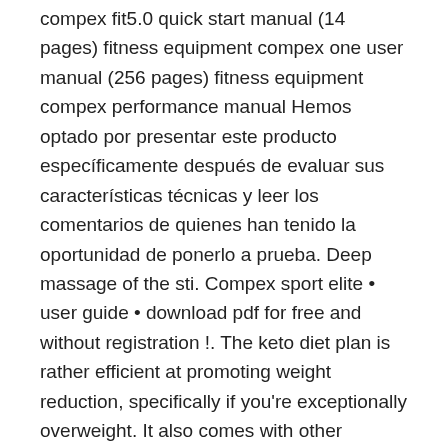compex fit5.0 quick start manual (14 pages) fitness equipment compex one user manual (256 pages) fitness equipment compex performance manual Hemos optado por presentar este producto específicamente después de evaluar sus características técnicas y leer los comentarios de quienes han tenido la oportunidad de ponerlo a prueba. Deep massage of the sti. Compex sport elite • user guide • download pdf for free and without registration !. The keto diet plan is rather efficient at promoting weight reduction, specifically if you're exceptionally overweight. It also comes with other programs:
In short, the compex sport elite can assist you in all facets of your sporting activities. It is to be used by adults only.